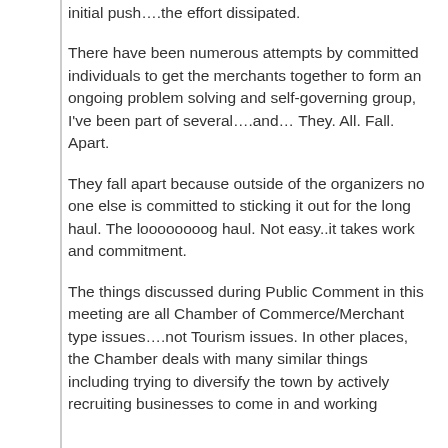initial push….the effort dissipated.
There have been numerous attempts by committed individuals to get the merchants together to form an ongoing problem solving and self-governing group, I've been part of several….and… They. All. Fall. Apart.
They fall apart because outside of the organizers no one else is committed to sticking it out for the long haul. The loooooooog haul. Not easy..it takes work and commitment.
The things discussed during Public Comment in this meeting are all Chamber of Commerce/Merchant type issues….not Tourism issues. In other places, the Chamber deals with many similar things including trying to diversify the town by actively recruiting businesses to come in and working